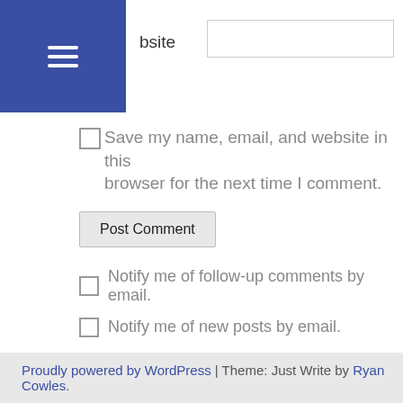[Figure (screenshot): Navigation hamburger menu icon (three white horizontal lines on dark blue background)]
Website (input field)
Save my name, email, and website in this browser for the next time I comment.
Post Comment (button)
Notify me of follow-up comments by email.
Notify me of new posts by email.
This site uses Akismet to reduce spam. Learn how your comment data is processed.
Proudly powered by WordPress | Theme: Just Write by Ryan Cowles.